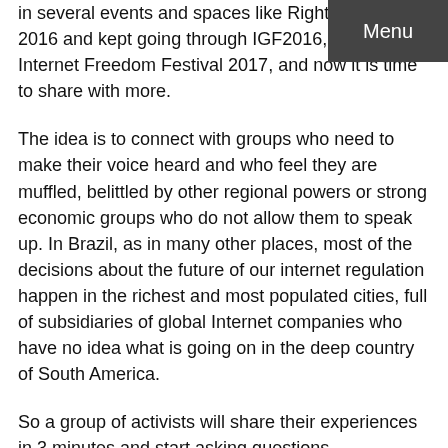in several events and spaces like Rightscon in 2016 and kept going through IGF2016, WSIS2016, Internet Freedom Festival 2017, and now it is time to share with more.
The idea is to connect with groups who need to make their voice heard and who feel they are muffled, belittled by other regional powers or strong economic groups who do not allow them to speak up. In Brazil, as in many other places, most of the decisions about the future of our internet regulation happen in the richest and most populated cities, full of subsidiaries of global Internet companies who have no idea what is going on in the deep country of South America.
So a group of activists will share their experiences in 3 minutes and start asking questions. Participants will be invited to answer these questions. They can also ask questions to the group onsite. In discussion:
- How to combat regional concentration and make sure the